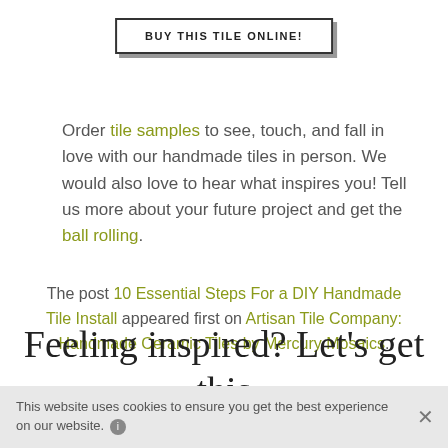BUY THIS TILE ONLINE!
Order tile samples to see, touch, and fall in love with our handmade tiles in person. We would also love to hear what inspires you! Tell us more about your future project and get the ball rolling.
The post 10 Essential Steps For a DIY Handmade Tile Install appeared first on Artisan Tile Company: Handmade Ceramic Tiles by Mercury Mosaics.
Feeling inspired? Let's get this tile fired.
This website uses cookies to ensure you get the best experience on our website.